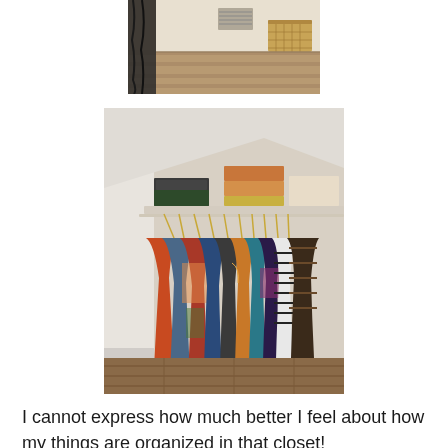[Figure (photo): Partial view of a room with hardwood floor, a wicker basket visible on a shelf, and dark fabric/scarf draped over the left side — top portion of a closet or room photo.]
[Figure (photo): A walk-in closet with a wire clothing rack holding many hanging garments in various colors and patterns (blue, orange, red, floral, striped). Folded items stacked on the shelf above the rack. Hardwood floor visible below.]
I cannot express how much better I feel about how my things are organized in that closet!